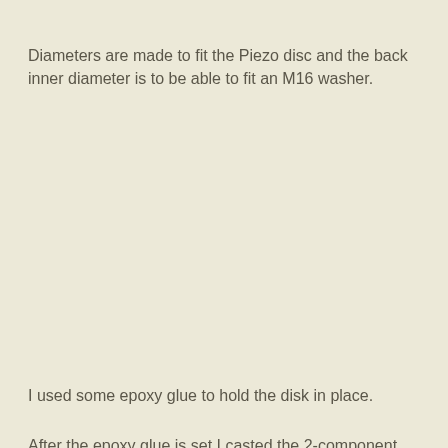Diameters are made to fit the Piezo disc and the back inner diameter is to be able to fit an M16 washer.
I used some epoxy glue to hold the disk in place.
After the epoxy glue is set I casted the 2-component